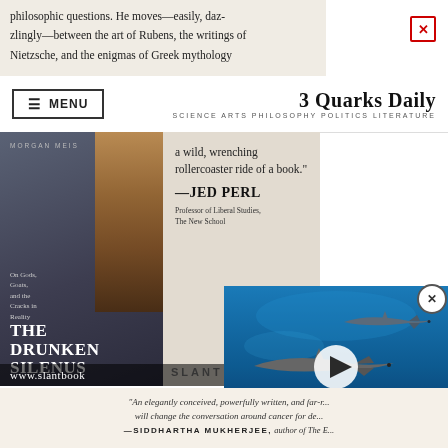philosophic questions. He moves—easily, dazzlingly—between the art of Rubens, the writings of Nietzsche, and the enigmas of Greek mythology
3 Quarks Daily — SCIENCE ARTS PHILOSOPHY POLITICS LITERATURE
[Figure (photo): Book advertisement for 'The Drunken Silenus' by Morgan Meis, published by Slant. Shows book cover with classical painting detail and quote from Jed Perl: 'a wild, wrenching rollercoaster ride of a book.' — JED PERL, Professor of Liberal Studies, The New School. Website: www.slantbook...]
[Figure (photo): Video overlay showing sharks swimming in blue ocean water, with a circular play button in the center.]
"An elegantly conceived, powerfully written, and far-r... will change the conversation around cancer for de... —SIDDHARTHA MUKHERJEE, author of The E...